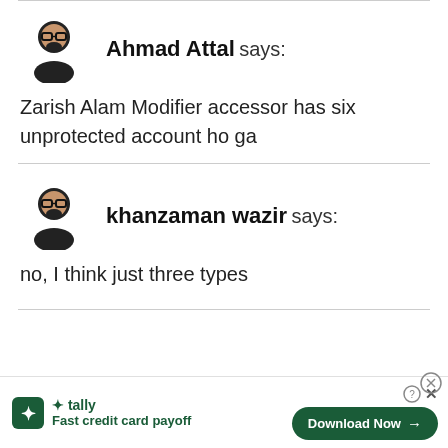Ahmad Attal says:
Zarish Alam Modifier accessor has six unprotected account ho ga
khanzaman wazir says:
no, I think just three types
[Figure (other): Advertisement banner for Tally app with Download Now button. Fast credit card payoff.]